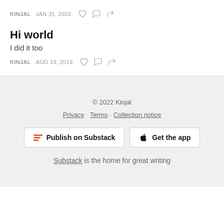KINJAL  JAN 31, 2020
Hi world
I did it too
KINJAL  AUG 19, 2019
© 2022 Kinjal
Privacy · Terms · Collection notice
Publish on Substack  Get the app
Substack is the home for great writing